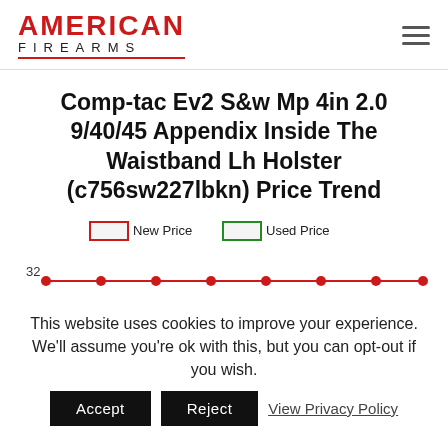[Figure (logo): American Firearms logo: 'AMERICAN' in bold red uppercase text, 'FIREARMS' in dark gray spaced uppercase below, with a red underline]
Comp-tac Ev2 S&w Mp 4in 2.0 9/40/45 Appendix Inside The Waistband Lh Holster (c756sw227lbkn) Price Trend
[Figure (line-chart): Price trend line chart showing New Price (red line with red markers) and Used Price (green outlined legend). Y-axis label shows 32. A horizontal red line with circular markers spans the chart area.]
This website uses cookies to improve your experience. We'll assume you're ok with this, but you can opt-out if you wish.
Accept   Reject   View Privacy Policy